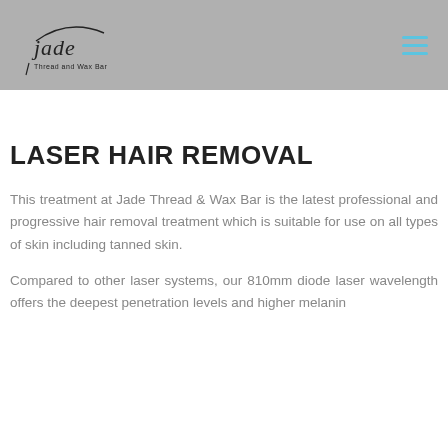[Figure (logo): Jade Thread and Wax Bar logo with cursive 'jade' text and subtitle 'Thread and Wax Bar']
LASER HAIR REMOVAL
This treatment at Jade Thread & Wax Bar is the latest professional and progressive hair removal treatment which is suitable for use on all types of skin including tanned skin.
Compared to other laser systems, our 810mm diode laser wavelength offers the deepest penetration levels and higher melanin